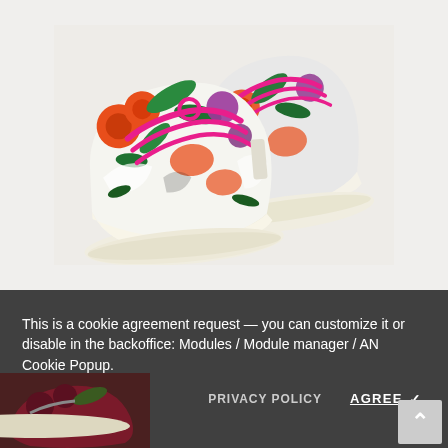[Figure (photo): Product photo of a pair of colorful floral-print canvas sneakers with bright pink laces on a light gray/off-white background. The sneakers feature orange, green, purple, and white tropical floral pattern with cream rubber soles.]
[Figure (photo): Small thumbnail image of a dark red/burgundy floral sneaker, partially visible at bottom left behind the cookie consent banner.]
This is a cookie agreement request — you can customize it or disable in the backoffice: Modules / Module manager / AN Cookie Popup.
PRIVACY POLICY
AGREE ✓